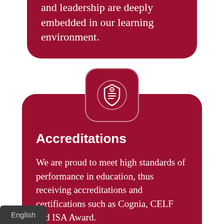and leadership are deeply embedded in our learning environment.
[Figure (logo): White accreditation/certification badge icon on dark red rounded square with circular border]
Accreditations
We are proud to meet high standards of performance in education, thus receiving accreditations and certifications such as Cognia, CELF and ISA Award.
English